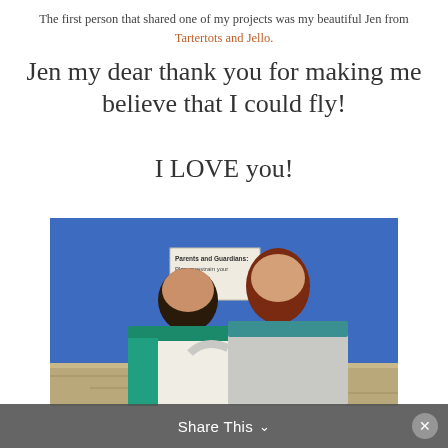The first person that shared one of my projects was my beautiful Jen from Tartertots and Jello.
Jen my dear thank you for making me believe that I could fly!

I LOVE you!
[Figure (photo): Two women smiling and posing together in front of a blue wall with a stone ledge. A sign reading 'Parents and Guardians: Please restrain your children from climbing...' is visible in the background.]
Share This